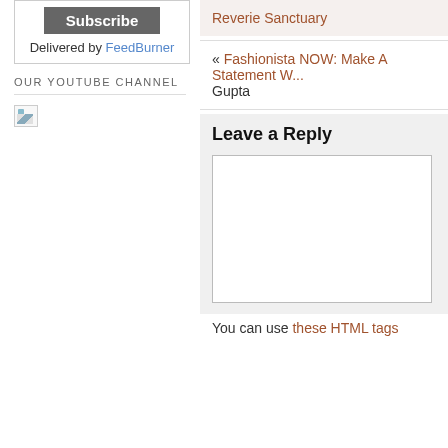Subscribe
Delivered by FeedBurner
OUR YOUTUBE CHANNEL
[Figure (illustration): Broken image placeholder icon for YouTube channel]
Reverie Sanctuary
« Fashionista NOW: Make A Statement W... Gupta
Leave a Reply
You can use these HTML tags